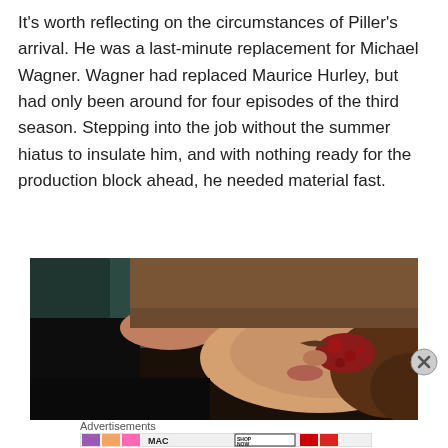It's worth reflecting on the circumstances of Piller's arrival. He was a last-minute replacement for Michael Wagner. Wagner had replaced Maurice Hurley, but had only been around for four episodes of the third season. Stepping into the job without the summer hiatus to insulate him, and with nothing ready for the production block ahead, he needed material fast.
[Figure (photo): A dark film/TV still showing a person lying on the ground with injuries to their face, with another person's hand visible holding or touching their head.]
Advertisements
[Figure (photo): Advertisement banner for MAC cosmetics showing lipsticks in purple, peach, and pink colors with MAC logo and SHOP NOW button.]